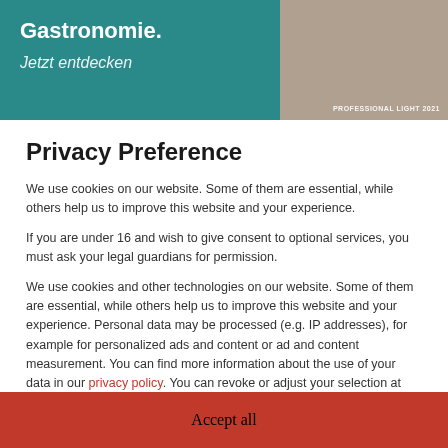[Figure (screenshot): Background website banner showing 'Gastronomie.' text on teal background with 'Jetzt entdecken' and a right panel showing 'PROFESSIONAL LIGHT 2021' on a brownish background]
Privacy Preference
We use cookies on our website. Some of them are essential, while others help us to improve this website and your experience.
If you are under 16 and wish to give consent to optional services, you must ask your legal guardians for permission.
We use cookies and other technologies on our website. Some of them are essential, while others help us to improve this website and your experience. Personal data may be processed (e.g. IP addresses), for example for personalized ads and content or ad and content measurement. You can find more information about the use of your data in our privacy policy. You can revoke or adjust your selection at any time under Settings.
Essential
External Media
Accept all